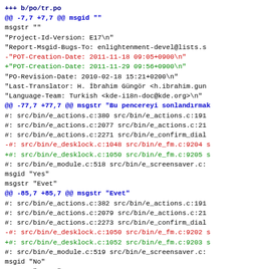Diff output showing changes to po/tr.po file including POT-Creation-Date update and source line number changes for msgid entries Yes, No, and Iğnelenmiş Durum Değişt